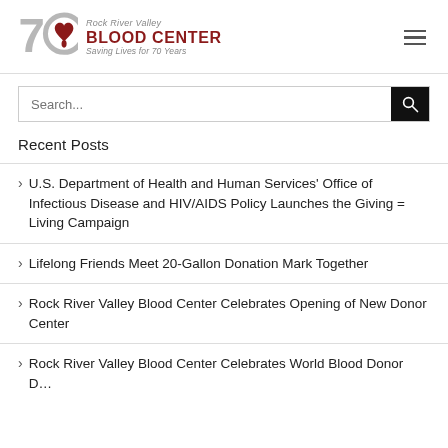[Figure (logo): Rock River Valley Blood Center logo with 70th anniversary mark — stylized 70 with heart drop, text: Rock River Valley BLOOD CENTER Saving Lives for 70 Years]
Recent Posts
U.S. Department of Health and Human Services' Office of Infectious Disease and HIV/AIDS Policy Launches the Giving = Living Campaign
Lifelong Friends Meet 20-Gallon Donation Mark Together
Rock River Valley Blood Center Celebrates Opening of New Donor Center
Rock River Valley Blood Center Celebrates World Blood Donor D…